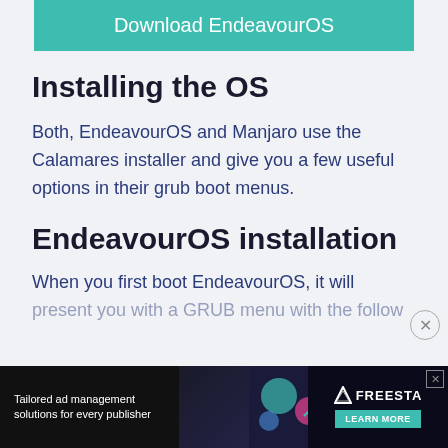[Figure (other): Teal/green download button with white text reading 'Download EndeavourOS']
Installing the OS
Both, EndeavourOS and Manjaro use the Calamares installer and give you a few useful options in their grub boot menus.
EndeavourOS installation
When you first boot EndeavourOS, it will present you with a GRUB menu with the following
[Figure (other): Advertisement banner: 'Tailored ad management solutions for every publisher' with FREESTA logo and LEARN MORE button]